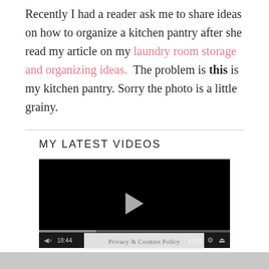Recently I had a reader ask me to share ideas on how to organize a kitchen pantry after she read my article on my laundry room storage and organizing ideas.  The problem is this is my kitchen pantry. Sorry the photo is a little grainy.
MY LATEST VIDEOS
[Figure (screenshot): Embedded video player with black background showing a play button in the center, a progress bar near the bottom, and video controls including volume, timestamp 18:44, grid, settings gear, and expand icons at the bottom.]